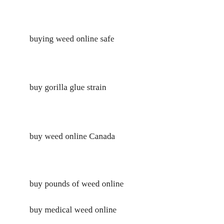buying weed online safe
buy gorilla glue strain
buy weed online Canada
buy pounds of weed online
buy medical weed online